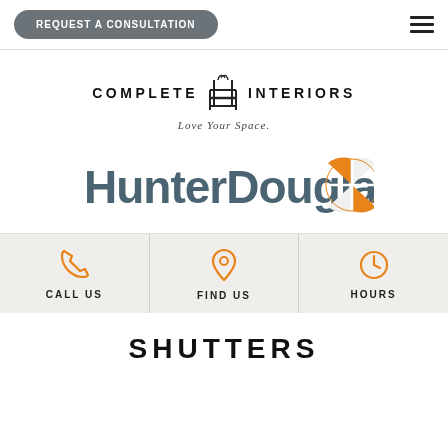REQUEST A CONSULTATION
[Figure (logo): Complete Interiors logo with chair icon and tagline 'Love Your Space.']
[Figure (logo): HunterDouglas logo with orange compass/quadrant icon]
CALL US
FIND US
HOURS
SHUTTERS